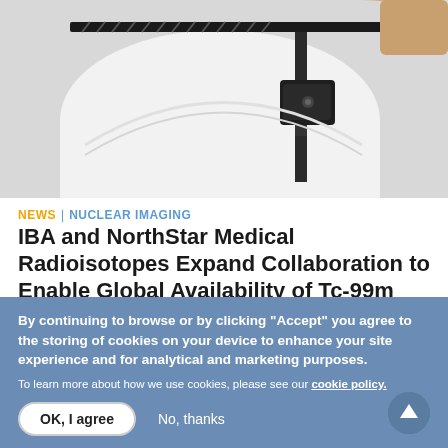[Figure (photo): Medical imaging equipment mounted on a rail system, with a person's arm visible in the upper right corner. The device appears to be a nuclear imaging scanner.]
NEWS | NUCLEAR IMAGING
IBA and NorthStar Medical Radioisotopes Expand Collaboration to Enable Global Availability of Tc-99m
March 8, 2021 — IBA (Ion Beam Applications S.A., EURONEXT) and NorthStar Medical Radioisotopes, LLC,
By continuing to browse or by clicking "Accept" you agree to the storing of cookies on your device to enhance your site experience and for analytical and marketing purposes.
To learn more about how we use cookies, please see our cookie policy.